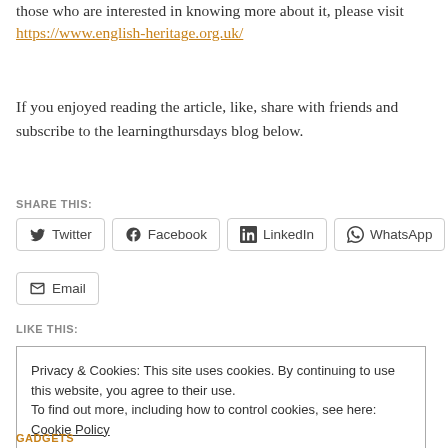those who are interested in knowing more about it, please visit https://www.english-heritage.org.uk/
If you enjoyed reading the article, like, share with friends and subscribe to the learningthursdays blog below.
SHARE THIS:
Twitter  Facebook  LinkedIn  WhatsApp  Email
LIKE THIS:
Privacy & Cookies: This site uses cookies. By continuing to use this website, you agree to their use. To find out more, including how to control cookies, see here: Cookie Policy
Close and accept
GADGETS